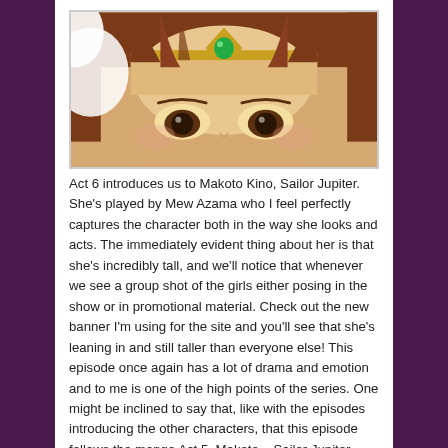[Figure (photo): Close-up photo of a person (Mew Azama as Sailor Jupiter) showing their face from forehead to just below eyes, wearing a golden tiara/headpiece with a green gem, and brown bangs. Soft, slightly blurred theatrical appearance.]
Act 6 introduces us to Makoto Kino, Sailor Jupiter. She’s played by Mew Azama who I feel perfectly captures the character both in the way she looks and acts. The immediately evident thing about her is that she’s incredibly tall, and we’ll notice that whenever we see a group shot of the girls either posing in the show or in promotional material. Check out the new banner I’m using for the site and you’ll see that she’s leaning in and still taller than everyone else! This episode once again has a lot of drama and emotion and to me is one of the high points of the series. One might be inclined to say that, like with the episodes introducing the other characters, that this episode follows the manga Act 5, Makoto – Sailor Jupiter,